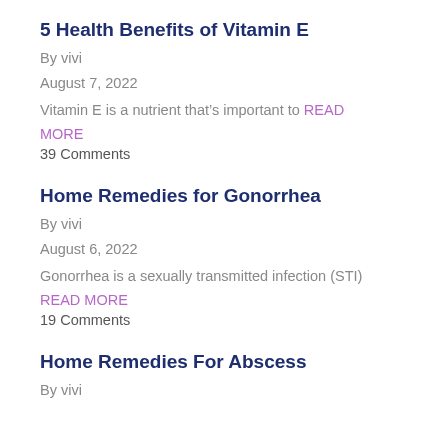5 Health Benefits of Vitamin E
By vivi
August 7, 2022
Vitamin E is a nutrient that's important to READ MORE
39 Comments
Home Remedies for Gonorrhea
By vivi
August 6, 2022
Gonorrhea is a sexually transmitted infection (STI)
READ MORE
19 Comments
Home Remedies For Abscess
By vivi